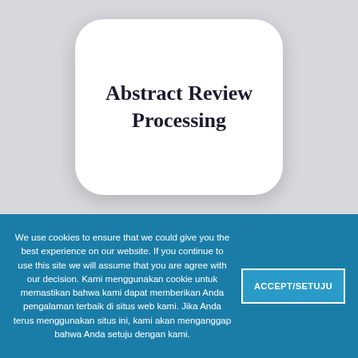Abstract Review Processing
We use cookies to ensure that we could give you the best experience on our website. If you continue to use this site we will assume that you are agree with our decision. Kami menggunakan cookie untuk memastikan bahwa kami dapat memberikan Anda pengalaman terbaik di situs web kami. Jika Anda terus menggunakan situs ini, kami akan menganggap bahwa Anda setuju dengan kami.
ACCEPT/SETUJU